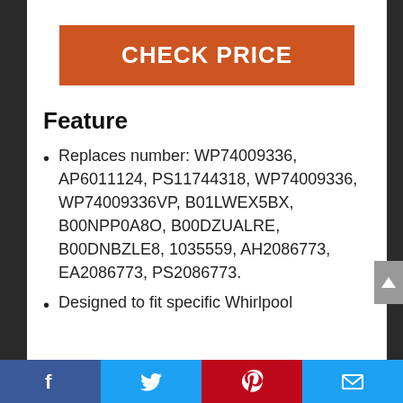CHECK PRICE
Feature
Replaces number: WP74009336, AP6011124, PS11744318, WP74009336, WP74009336VP, B01LWEX5BX, B00NPP0A8O, B00DZUALRE, B00DNBZLE8, 1035559, AH2086773, EA2086773, PS2086773.
Designed to fit specific Whirlpool